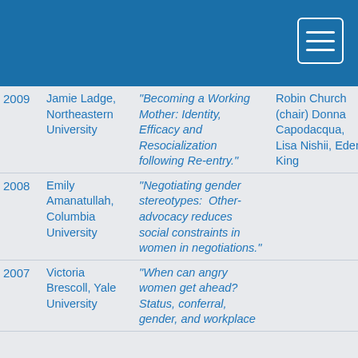[Figure (other): Blue header bar with hamburger menu button in top right corner]
| Year | Person | Title | Committee |
| --- | --- | --- | --- |
| 2009 | Jamie Ladge, Northeastern University | "Becoming a Working Mother: Identity, Efficacy and Resocialization following Re-entry." | Robin Church (chair) Donna Capodacqua, Lisa Nishii, Eden King |
| 2008 | Emily Amanatullah, Columbia University | "Negotiating gender stereotypes:  Other-advocacy reduces social constraints in women in negotiations." |  |
| 2007 | Victoria Brescoll, Yale University | "When can angry women get ahead? Status, conferral, gender, and workplace |  |